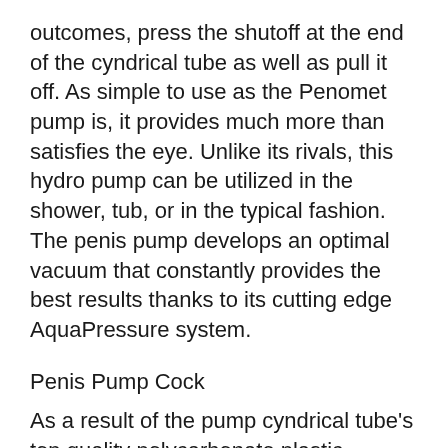outcomes, press the shutoff at the end of the cyndrical tube as well as pull it off. As simple to use as the Penomet pump is, it provides much more than satisfies the eye. Unlike its rivals, this hydro pump can be utilized in the shower, tub, or in the typical fashion. The penis pump develops an optimal vacuum that constantly provides the best results thanks to its cutting edge AquaPressure system.
Penis Pump Cock
As a result of the pump cyndrical tube's top quality polycarbonate plastic building and construction, it is almost indestructible. The gaiters, on the other hand, are made from medical-grade silicone. The Penomet pump